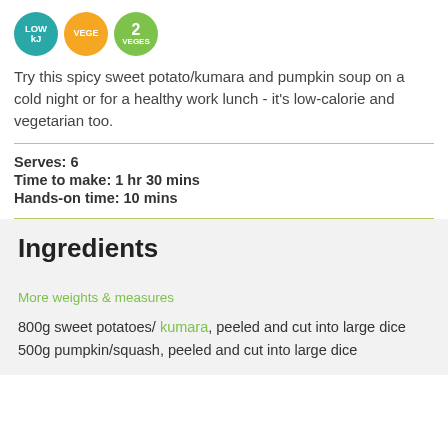[Figure (infographic): Three circular badge icons: teal 'LOW kJ', orange 'VEGE', green '2 VEGES']
Try this spicy sweet potato/kumara and pumpkin soup on a cold night or for a healthy work lunch - it's low-calorie and vegetarian too.
Serves: 6
Time to make: 1 hr 30 mins
Hands-on time: 10 mins
Ingredients
More weights & measures
800g sweet potatoes/ kumara, peeled and cut into large dice
500g pumpkin/squash, peeled and cut into large dice